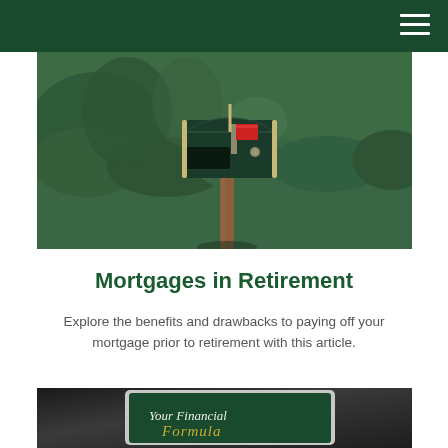[Figure (photo): A green wooden mailbox with a red flag, mounted on a wooden post, surrounded by lush green hedges and garden greenery in the background.]
Mortgages in Retirement
Explore the benefits and drawbacks to paying off your mortgage prior to retirement with this article.
[Figure (photo): A tablet device displaying text 'Your Financial Formula' on a dark green background, placed on a surface.]